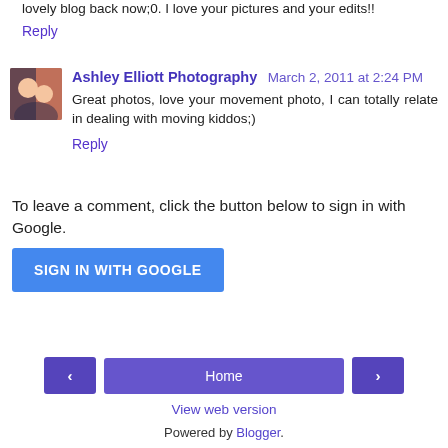lovely blog back now;0. I love your pictures and your edits!!
Reply
Ashley Elliott Photography  March 2, 2011 at 2:24 PM
Great photos, love your movement photo, I can totally relate in dealing with moving kiddos;)
Reply
To leave a comment, click the button below to sign in with Google.
[Figure (other): Sign in with Google button (blue rectangle)]
[Figure (other): Navigation bar with previous arrow, Home button, and next arrow]
View web version
Powered by Blogger.